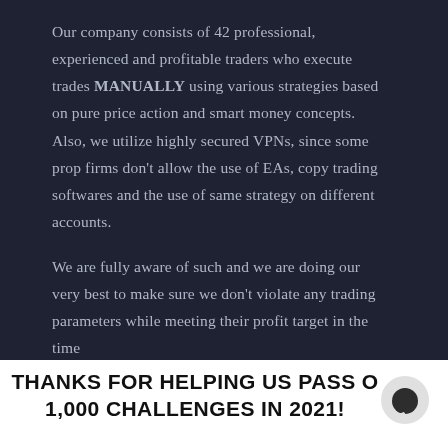Our company consists of 42 professional, experienced and profitable traders who execute trades MANUALLY using various strategies based on pure price action and smart money concepts. Also, we utilize highly secured VPNs, since some prop firms don't allow the use of EAs, copy trading softwares and the use of same strategy on different accounts.
We are fully aware of such and we are doing our very best to make sure we don't violate any trading parameters while meeting their profit target in the time
THANKS FOR HELPING US PASS OVER 1,000 CHALLENGES IN 2021!